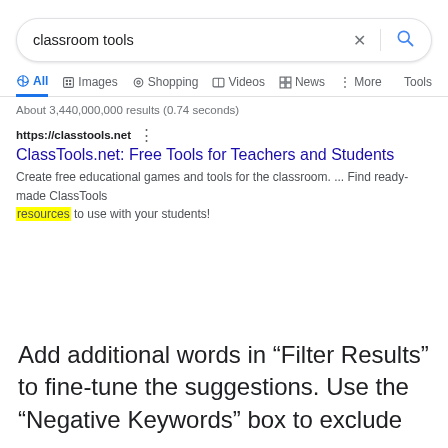[Figure (screenshot): Google search bar with query 'classroom tools', showing X and magnifying glass icons]
All  Images  Shopping  Videos  News  More  Tools
About 3,440,000,000 results (0.74 seconds)
https://classtools.net
ClassTools.net: Free Tools for Teachers and Students
Create free educational games and tools for the classroom. ... Find ready-made ClassTools resources to use with your students!
Add additional words in “Filter Results” to fine-tune the suggestions. Use the “Negative Keywords” box to exclude